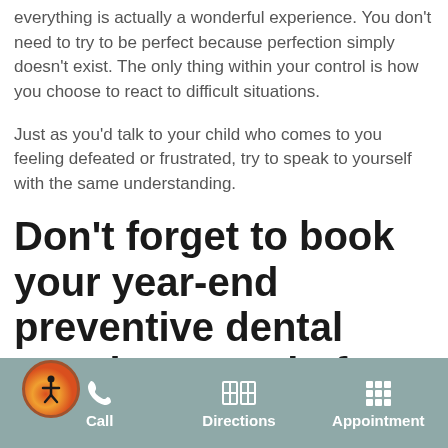everything is actually a wonderful experience. You don't need to try to be perfect because perfection simply doesn't exist. The only thing within your control is how you choose to react to difficult situations.
Just as you'd talk to your child who comes to you feeling defeated or frustrated, try to speak to yourself with the same understanding.
Don't forget to book your year-end preventive dental appointments before the holiday season.
Back to school dental cleanings and exams are a
Call | Directions | Appointment